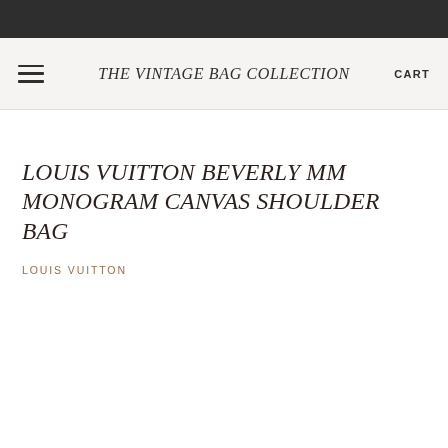THE VINTAGE BAG COLLECTION  CART
LOUIS VUITTON BEVERLY MM MONOGRAM CANVAS SHOULDER BAG
LOUIS VUITTON